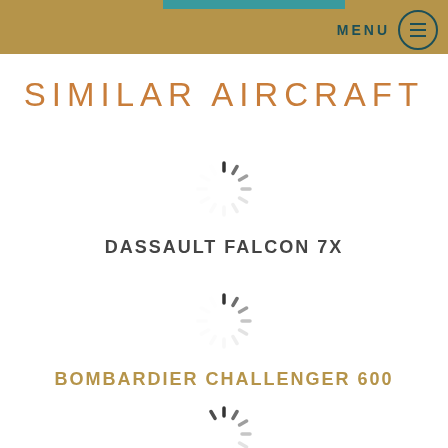MENU
SIMILAR AIRCRAFT
DASSAULT FALCON 7X
BOMBARDIER CHALLENGER 600
GULFSTREAM G350